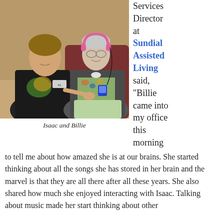[Figure (photo): A teenage boy and an elderly woman sitting together. The woman is wearing pink headphones and holding a small music player. They are smiling at the camera.]
Isaac and Billie
Services Director at Sundial Assisted Living said, “Billie came into my office this morning
to tell me about how amazed she is at our brains. She started thinking about all the songs she has stored in her brain and the marvel is that they are all there after all these years. She also shared how much she enjoyed interacting with Isaac. Talking about music made her start thinking about other